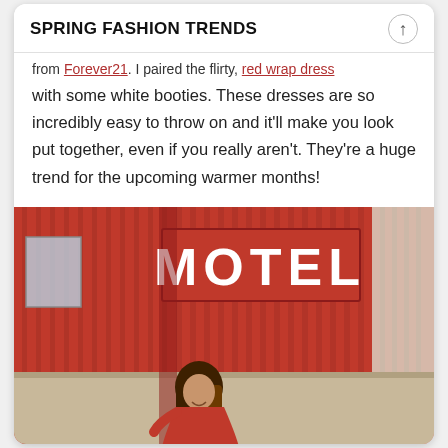SPRING FASHION TRENDS
from Forever21. I paired the flirty, red wrap dress with some white booties. These dresses are so incredibly easy to throw on and it'll make you look put together, even if you really aren't. They're a huge trend for the upcoming warmer months!
[Figure (photo): Woman in a red wrap dress standing in front of a red motel building with a large MOTEL sign]